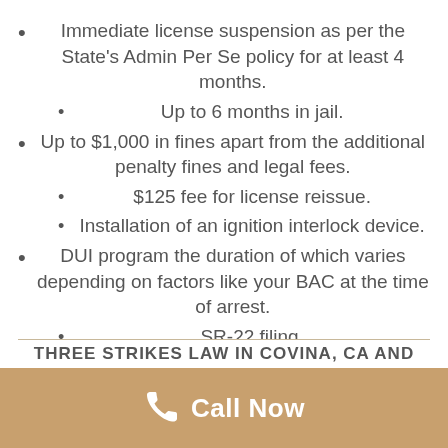Immediate license suspension as per the State's Admin Per Se policy for at least 4 months.
Up to 6 months in jail.
Up to $1,000 in fines apart from the additional penalty fines and legal fees.
$125 fee for license reissue.
Installation of an ignition interlock device.
DUI program the duration of which varies depending on factors like your BAC at the time of arrest.
SR-22 filing.
THREE STRIKES LAW IN COVINA, CA AND
Call Now